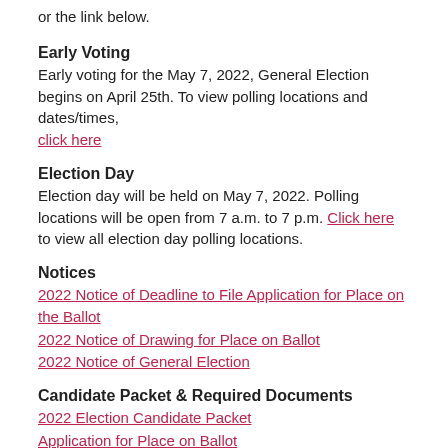or the link below.
Early Voting
Early voting for the May 7, 2022, General Election begins on April 25th. To view polling locations and dates/times, click here
Election Day
Election day will be held on May 7, 2022. Polling locations will be open from 7 a.m. to 7 p.m. Click here to view all election day polling locations.
Notices
2022 Notice of Deadline to File Application for Place on the Ballot
2022 Notice of Drawing for Place on Ballot
2022 Notice of General Election
Candidate Packet & Required Documents
2022 Election Candidate Packet
Application for Place on Ballot